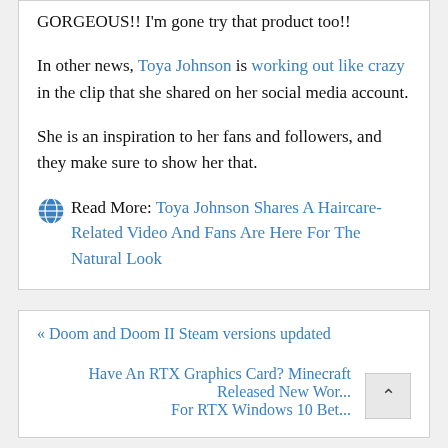GORGEOUS!! I'm gone try that product too!!
In other news, Toya Johnson is working out like crazy in the clip that she shared on her social media account.
She is an inspiration to her fans and followers, and they make sure to show her that.
🌐 Read More: Toya Johnson Shares A Haircare-Related Video And Fans Are Here For The Natural Look
« Doom and Doom II Steam versions updated
Have An RTX Graphics Card? Minecraft Released New Wor... For RTX Windows 10 Bet...